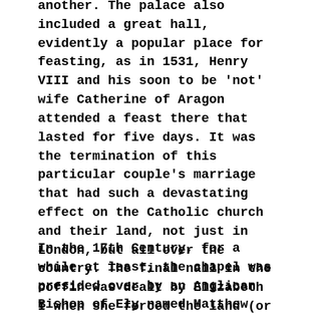another. The palace also included a great hall, evidently a popular place for feasting, as in 1531, Henry VIII and his soon to be 'not' wife Catherine of Aragon attended a feast there that lasted for five days. It was the termination of this particular couple's marriage that had such a devastating effect on the Catholic church and their land, not just in London, but all over the country. The final nail in the coffin was dealt by Elizabeth I when she forced the land (or a great deal of it) to be handed over to a courtier she had the hots for. His name was Sir Christopher Hatton, and you'll notice the name still lingers on today in nearby Hatton Garden, London's jewellery quarter.
In the 17th Century, for a while at least, the chapel was presided over by an Anglican Bishop of Ely named Matthew Wren, perhaps now most